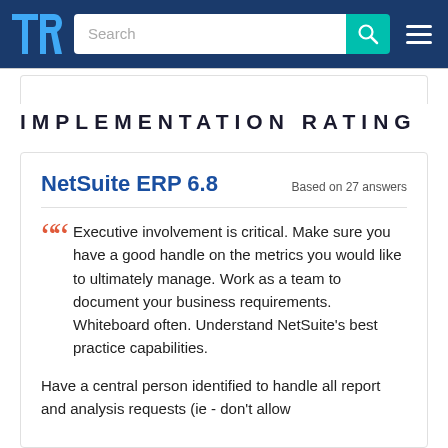[Figure (screenshot): TrustRadius website navigation bar with logo, search bar, and hamburger menu on dark blue background]
IMPLEMENTATION RATING
NetSuite ERP 6.8
Based on 27 answers
Executive involvement is critical. Make sure you have a good handle on the metrics you would like to ultimately manage. Work as a team to document your business requirements. Whiteboard often. Understand NetSuite's best practice capabilities.
Have a central person identified to handle all report and analysis requests (ie - don't allow